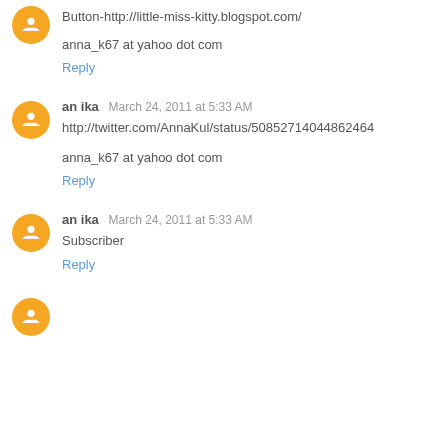Button-http://little-miss-kitty.blogspot.com/
anna_k67 at yahoo dot com
Reply
an ika March 24, 2011 at 5:33 AM
http://twitter.com/AnnaKul/status/50852714044862464
anna_k67 at yahoo dot com
Reply
an ika March 24, 2011 at 5:33 AM
Subscriber
Reply